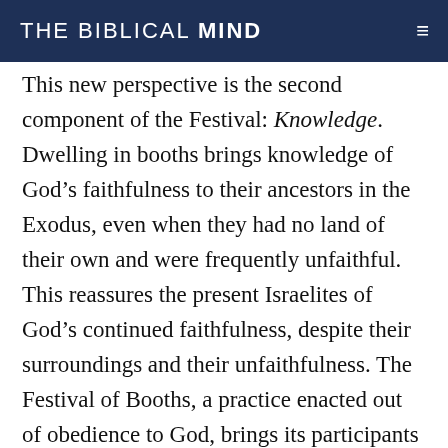THE BIBLICAL MIND
This new perspective is the second component of the Festival: Knowledge. Dwelling in booths brings knowledge of God’s faithfulness to their ancestors in the Exodus, even when they had no land of their own and were frequently unfaithful. This reassures the present Israelites of God’s continued faithfulness, despite their surroundings and their unfaithfulness. The Festival of Booths, a practice enacted out of obedience to God, brings its participants into deeper knowledge of their covenant relationship with God. Within the love and security of that